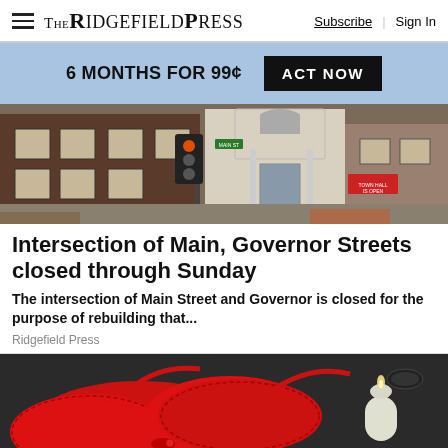THE RIDGEFIELD PRESS — Subscribe | Sign In
6 MONTHS FOR 99¢ — ACT NOW
[Figure (photo): Street-level photo of an intersection with a brick building and white-columned entrance, construction signage visible]
Intersection of Main, Governor Streets closed through Sunday
The intersection of Main Street and Governor is closed for the purpose of rebuilding that...
Ridgefield Press
[Figure (photo): Close-up photo of a red lace bra on a dark surface with a candle]